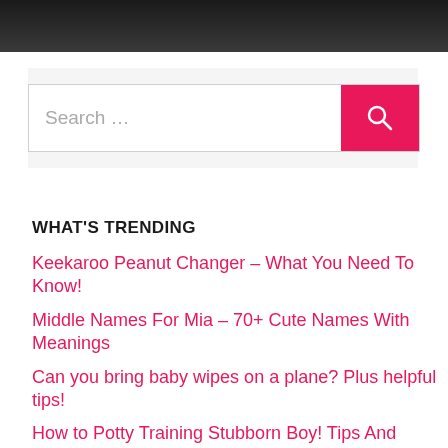[Figure (photo): Dark/blurred photo at top of page]
[Figure (screenshot): Search bar with pink search button containing magnifying glass icon]
WHAT'S TRENDING
Keekaroo Peanut Changer – What You Need To Know!
Middle Names For Mia – 70+ Cute Names With Meanings
Can you bring baby wipes on a plane? Plus helpful tips!
How to Potty Training Stubborn Boy! Tips And Tricks That Work!
60+ Middle Names For Violet – Unique Names you Didn't